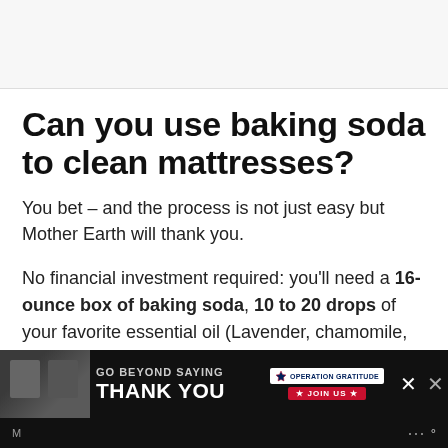Can you use baking soda to clean mattresses?
You bet – and the process is not just easy but Mother Earth will thank you.
No financial investment required: you'll need a 16-ounce box of baking soda, 10 to 20 drops of your favorite essential oil (Lavender, chamomile, sandalwood, and ylang ylang are especially soothing), and a vacuum cleaner.
[Figure (infographic): Advertisement banner: dark background with people in background, text 'GO BEYOND SAYING THANK YOU' with Operation Gratitude logo and JOIN US button, and close X button]
M...